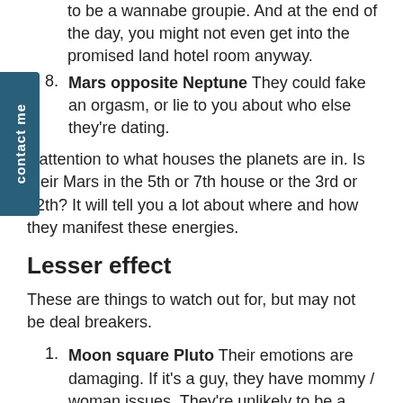to be a wannabe groupie. And at the end of the day, you might not even get into the promised land hotel room anyway.
Mars opposite Neptune They could fake an orgasm, or lie to you about who else they're dating.
attention to what houses the planets are in. Is their Mars in the 5th or 7th house or the 3rd or 12th? It will tell you a lot about where and how they manifest these energies.
Lesser effect
These are things to watch out for, but may not be deal breakers.
Moon square Pluto Their emotions are damaging. If it's a guy, they have mommy / woman issues. They're unlikely to be a feminist or pro women.